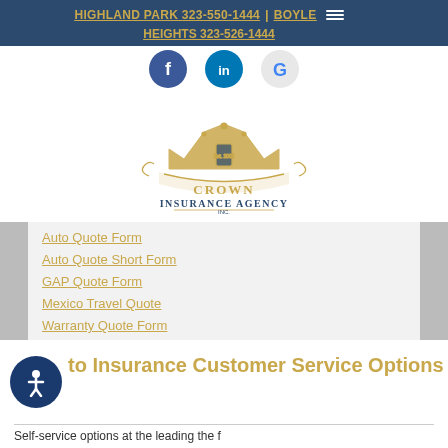HIGHLAND PARK 323-550-1444 | BOYLE HEIGHTS 323-526-1444
[Figure (logo): Social media icons: Facebook (blue circle with 'f'), LinkedIn (blue circle with 'in'), Google (light circle with 'G')]
[Figure (logo): Crown Insurance Agency Inc. logo — gold crown illustration above text 'CROWN INSURANCE AGENCY INC.' in gold and navy blue with decorative scroll elements]
Auto Quote Form
Auto Quote Short Form
GAP Quote Form
Mexico Travel Quote
Warranty Quote Form
Auto Insurance Customer Service Options
Self-service options at the leading the f…